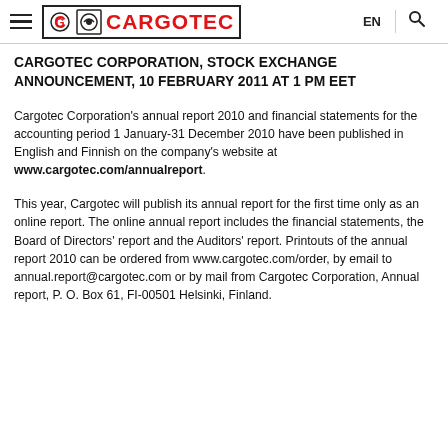CARGOTEC  EN  [search]
CARGOTEC CORPORATION, STOCK EXCHANGE ANNOUNCEMENT, 10 FEBRUARY 2011 AT 1 PM EET
Cargotec Corporation's annual report 2010 and financial statements for the accounting period 1 January-31 December 2010 have been published in English and Finnish on the company's website at www.cargotec.com/annualreport.
This year, Cargotec will publish its annual report for the first time only as an online report. The online annual report includes the financial statements, the Board of Directors' report and the Auditors' report. Printouts of the annual report 2010 can be ordered from www.cargotec.com/order, by email to annual.report@cargotec.com or by mail from Cargotec Corporation, Annual report, P. O. Box 61, FI-00501 Helsinki, Finland.